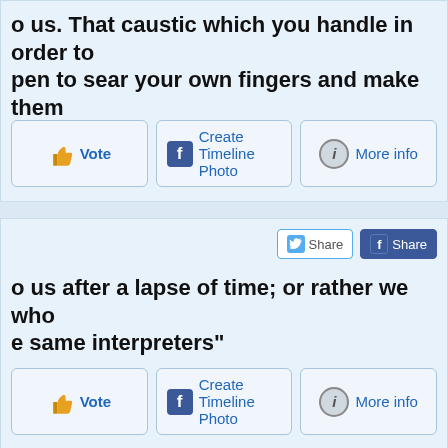o us after a lapse of time; or rather we who e same interpreters"
[Figure (screenshot): Vote button with thumbs up icon]
[Figure (screenshot): Create Timeline Photo button with Facebook icon]
[Figure (screenshot): More info button with info icon]
[Figure (screenshot): Twitter Share button]
[Figure (screenshot): Facebook Share button]
o us after a lapse of time; or rather we who e same interpreters"
[Figure (screenshot): Vote button with thumbs up icon]
[Figure (screenshot): Create Timeline Photo button with Facebook icon]
[Figure (screenshot): More info button with info icon]